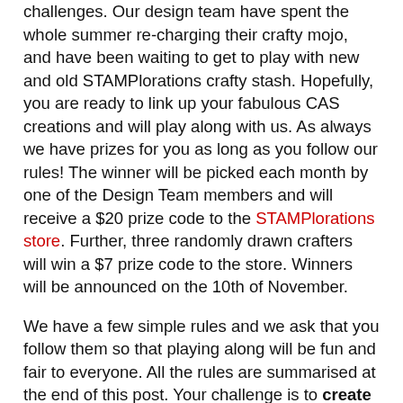challenges. Our design team have spent the whole summer re-charging their crafty mojo, and have been waiting to get to play with new and old STAMPlorations crafty stash. Hopefully, you are ready to link up your fabulous CAS creations and will play along with us. As always we have prizes for you as long as you follow our rules! The winner will be picked each month by one of the Design Team members and will receive a $20 prize code to the STAMPlorations store. Further, three randomly drawn crafters will win a $7 prize code to the store. Winners will be announced on the 10th of November.
We have a few simple rules and we ask that you follow them so that playing along will be fun and fair to everyone. All the rules are summarised at the end of this post. Your challenge is to create a clean and simple (CAS) card with or without the optional color twist which this month is gray and orange. You may enter up to 3 CAS cards. Remember to link to this blog post (via text link) and display the challenge graphic to be eligible for the prizes. You can use any craft products you want, but if you have STAMPlorations stash, we would love to see what you create with it. And of course